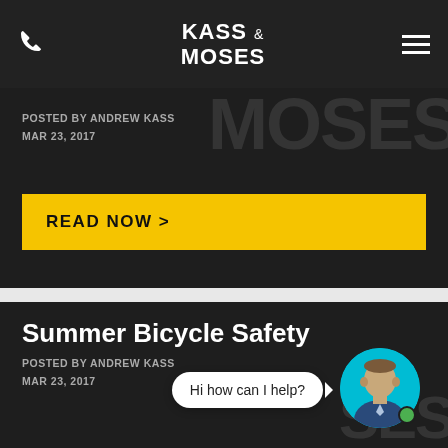KASS & MOSES
POSTED BY ANDREW KASS
MAR 23, 2017
READ NOW >
Summer Bicycle Safety
POSTED BY ANDREW KASS
MAR 23, 2017
[Figure (illustration): Chat bubble with text 'Hi how can I help?' and a man's avatar photo with green online indicator on a cyan circle background]